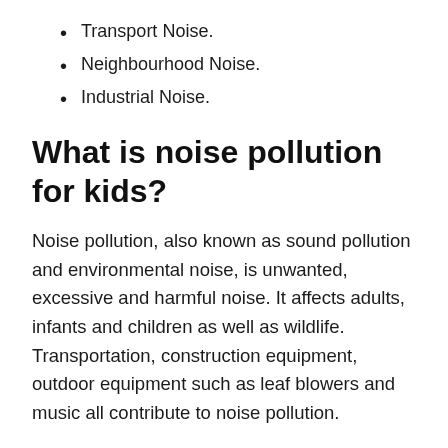Transport Noise.
Neighbourhood Noise.
Industrial Noise.
What is noise pollution for kids?
Noise pollution, also known as sound pollution and environmental noise, is unwanted, excessive and harmful noise. It affects adults, infants and children as well as wildlife. Transportation, construction equipment, outdoor equipment such as leaf blowers and music all contribute to noise pollution.